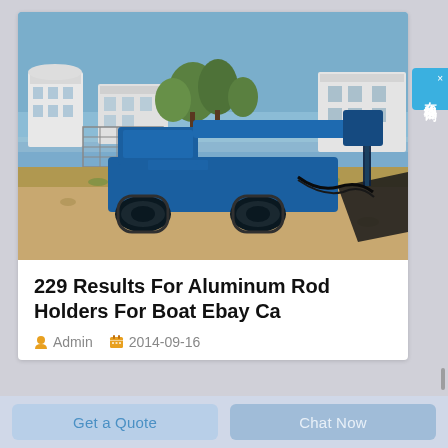[Figure (photo): Blue tracked drilling rig machine parked on a gravel/dirt area outdoors, with residential buildings and trees in the background under a blue sky.]
229 Results For Aluminum Rod Holders For Boat Ebay Ca
Admin   2014-09-16
Get a Quote   Chat Now